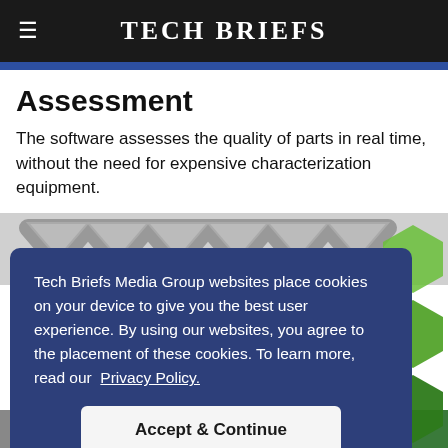Tech Briefs
Assessment
The software assesses the quality of parts in real time, without the need for expensive characterization equipment.
[Figure (screenshot): Partially visible image of physical parts/components with green hexagonal shapes on the right side]
Tech Briefs Media Group websites place cookies on your device to give you the best user experience. By using our websites, you agree to the placement of these cookies. To learn more, read our Privacy Policy.
Accept & Continue